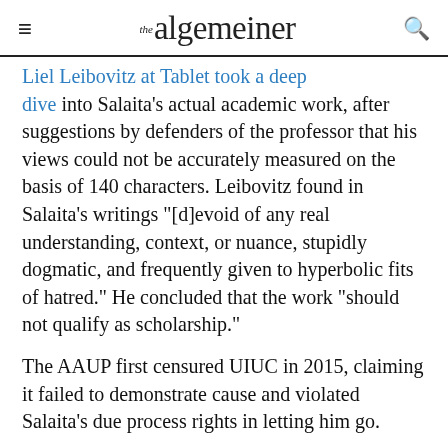the algemeiner
Liel Leibovitz at Tablet took a deep dive into Salaita’s actual academic work, after suggestions by defenders of the professor that his views could not be accurately measured on the basis of 140 characters. Leibovitz found in Salaita’s writings “[d]evoid of any real understanding, context, or nuance, stupidly dogmatic, and frequently given to hyperbolic fits of hatred.” He concluded that the work “should not qualify as scholarship.”
The AAUP first censured UIUC in 2015, claiming it failed to demonstrate cause and violated Salaita’s due process rights in letting him go.